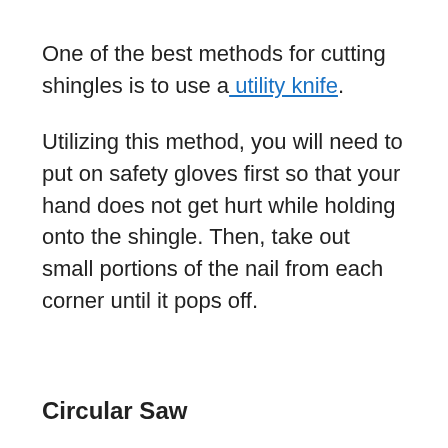One of the best methods for cutting shingles is to use a utility knife.
Utilizing this method, you will need to put on safety gloves first so that your hand does not get hurt while holding onto the shingle. Then, take out small portions of the nail from each corner until it pops off.
Circular Saw